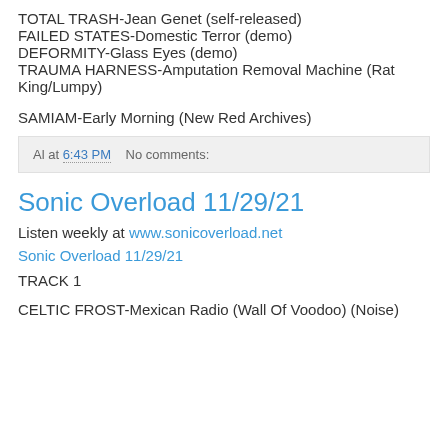TOTAL TRASH-Jean Genet (self-released)
FAILED STATES-Domestic Terror (demo)
DEFORMITY-Glass Eyes (demo)
TRAUMA HARNESS-Amputation Removal Machine (Rat King/Lumpy)
SAMIAM-Early Morning (New Red Archives)
Al at 6:43 PM    No comments:
Sonic Overload 11/29/21
Listen weekly at www.sonicoverload.net
Sonic Overload 11/29/21
TRACK 1
CELTIC FROST-Mexican Radio (Wall Of Voodoo) (Noise)